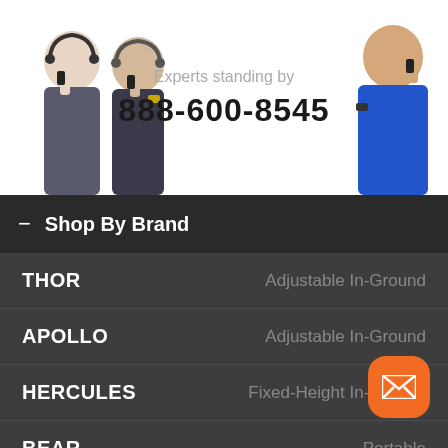[Figure (photo): Two customer service representatives on left wearing headsets/phones, one representative on right wearing blue shirt on phone, with phone number and experts standing by text in center]
Experts standing by
888-600-8545
– Shop By Brand
THOR — Adjustable In-Ground
APOLLO — Adjustable In-Ground
HERCULES — Fixed-Height In-Ground
BEAR — Portable
ROOF KING — Roof-Mount
WALL KING — Wall-Mount